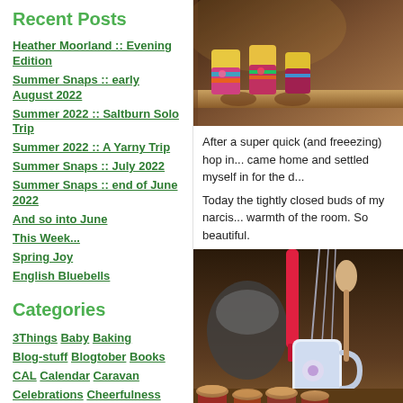Recent Posts
Heather Moorland :: Evening Edition
Summer Snaps :: early August 2022
Summer 2022 :: Saltburn Solo Trip
Summer 2022 :: A Yarny Trip
Summer Snaps :: July 2022
Summer Snaps :: end of June 2022
And so into June
This Week...
Spring Joy
English Bluebells
Categories
3Things Baby Baking Blog-stuff Blogtober Books CAL Calendar Caravan Celebrations Cheerfulness Children Craft Crochet Cross Stitch Decorations Etsy Family Flowers Food Food and...
[Figure (photo): Colourful crocheted jars/cups on a wooden shelf with warm lighting]
After a super quick (and freeezing) hop in... came home and settled myself in for the d...
Today the tightly closed buds of my narcis... warmth of the room. So beautiful.
[Figure (photo): Kitchen utensils including red spatula in a floral mug, with muffins in foreground]